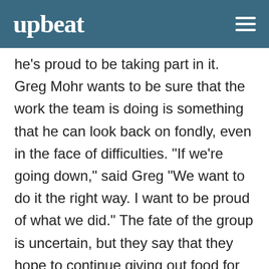upbeat
he's proud to be taking part in it. Greg Mohr wants to be sure that the work the team is doing is something that he can look back on fondly, even in the face of difficulties. "If we're going down," said Greg "We want to do it the right way. I want to be proud of what we did." The fate of the group is uncertain, but they say that they hope to continue giving out food for the remainder of the crisis.